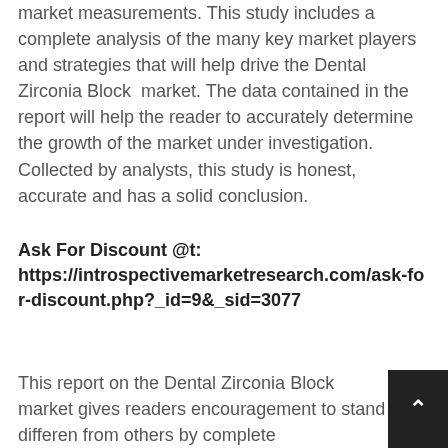market measurements. This study includes a complete analysis of the many key market players and strategies that will help drive the Dental Zirconia Block  market. The data contained in the report will help the reader to accurately determine the growth of the market under investigation. Collected by analysts, this study is honest, accurate and has a solid conclusion.
Ask For Discount @t: https://introspectivemarketresearch.com/ask-for-discount.php?_id=9&_sid=3077
This report on the Dental Zirconia Block  market gives readers encouragement to stand different from others by complete understanding of the